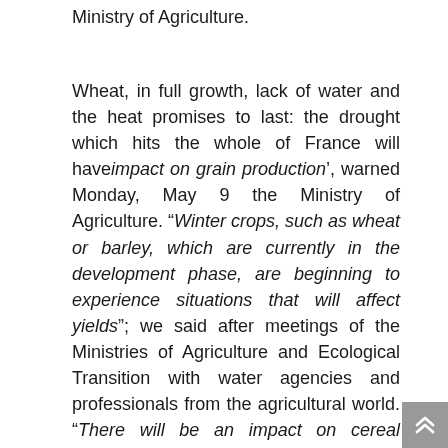Ministry of Agriculture.
Wheat, in full growth, lack of water and the heat promises to last: the drought which hits the whole of France will have impact on grain production', warned Monday, May 9 the Ministry of Agriculture. "Winter crops, such as wheat or barley, which are currently in the development phase, are beginning to experience situations that will affect yields"; we said after meetings of the Ministries of Agriculture and Ecological Transition with water agencies and professionals from the agricultural world. "There will be an impact on cereal production', it was estimated at Agriculture, even if it "is still much too early to have an accurate assessment".